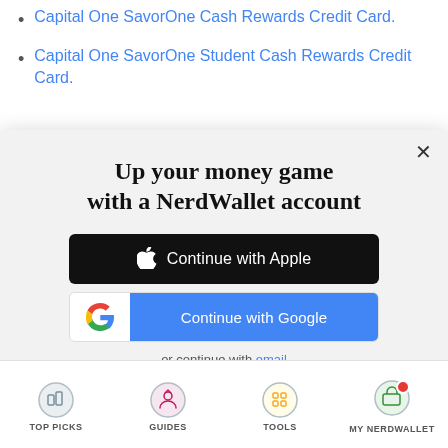Capital One SavorOne Cash Rewards Credit Card.
Capital One SavorOne Student Cash Rewards Credit Card.
[Figure (screenshot): NerdWallet modal dialog prompting user to sign up. Contains 'Up your money game with a NerdWallet account' heading, 'Continue with Apple' black button, 'Continue with Google' blue button, 'or continue with email' link, and Terms of Service / Privacy Policy disclaimer.]
[Figure (infographic): Bottom navigation bar with four icons: TOP PICKS, GUIDES, TOOLS, MY NERDWALLET (with red notification dot)]